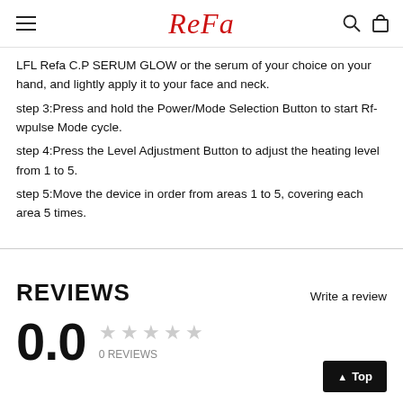ReFa
LFL Refa C.P SERUM GLOW or the serum of your choice on your hand, and lightly apply it to your face and neck.
step 3:Press and hold the Power/Mode Selection Button to start Rf-wpulse Mode cycle.
step 4:Press the Level Adjustment Button to adjust the heating level from 1 to 5.
step 5:Move the device in order from areas 1 to 5, covering each area 5 times.
REVIEWS
Write a review
0.0
0 REVIEWS